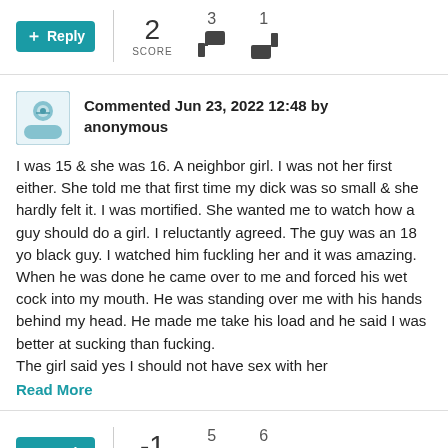[Figure (infographic): Reply button with score 2 (3 upvotes, 1 downvote)]
Commented Jun 23, 2022 12:48 by anonymous
I was 15 & she was 16. A neighbor girl. I was not her first either. She told me that first time my dick was so small & she hardly felt it. I was mortified. She wanted me to watch how a guy should do a girl. I reluctantly agreed. The guy was an 18 yo black guy. I watched him fuckling her and it was amazing. When he was done he came over to me and forced his wet cock into my mouth. He was standing over me with his hands behind my head. He made me take his load and he said I was better at sucking than fucking.
The girl said yes I should not have sex with her
Read More
[Figure (infographic): Reply button with score -1 (5 upvotes, 6 downvotes)]